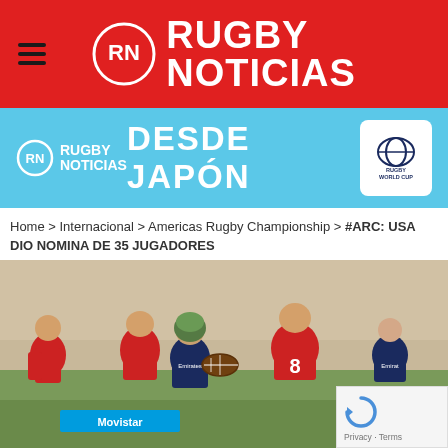Rugby Noticias
[Figure (other): Rugby Noticias desde Japón banner advertisement with Rugby World Cup logo]
Home > Internacional > Americas Rugby Championship > #ARC: USA DIO NOMINA DE 35 JUGADORES
[Figure (photo): Rugby match action photo showing players in red and navy uniforms competing for the ball, player #8 in red prominent, Emirates sponsor visible]